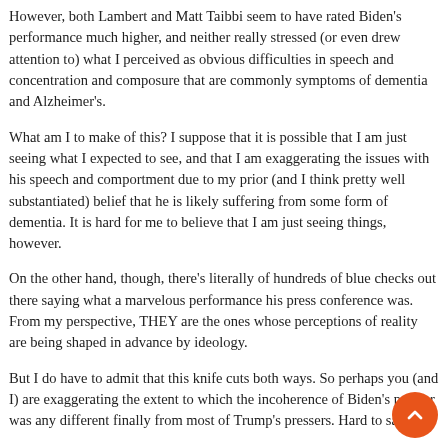However, both Lambert and Matt Taibbi seem to have rated Biden's performance much higher, and neither really stressed (or even drew attention to) what I perceived as obvious difficulties in speech and concentration and composure that are commonly symptoms of dementia and Alzheimer's.
What am I to make of this? I suppose that it is possible that I am just seeing what I expected to see, and that I am exaggerating the issues with his speech and comportment due to my prior (and I think pretty well substantiated) belief that he is likely suffering from some form of dementia. It is hard for me to believe that I am just seeing things, however.
On the other hand, though, there's literally of hundreds of blue checks out there saying what a marvelous performance his press conference was. From my perspective, THEY are the ones whose perceptions of reality are being shaped in advance by ideology.
But I do have to admit that this knife cuts both ways. So perhaps you (and I) are exaggerating the extent to which the incoherence of Biden's presser was any different finally from most of Trump's pressers. Hard to say.